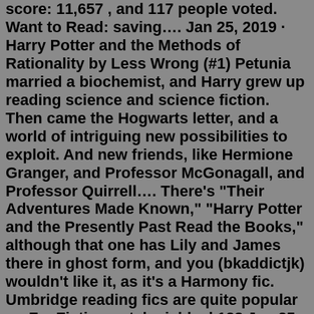score: 11,657 , and 117 people voted. Want to Read: saving…. Jan 25, 2019 · Harry Potter and the Methods of Rationality by Less Wrong (#1) Petunia married a biochemist, and Harry grew up reading science and science fiction. Then came the Hogwarts letter, and a world of intriguing new possibilities to exploit. And new friends, like Hermione Granger, and Professor McGonagall, and Professor Quirrell…. There's "Their Adventures Made Known," "Harry Potter and the Presently Past Read the Books," although that one has Lily and James there in ghost form, and you (bkaddictjk) wouldn't like it, as it's a Harmony fic. Umbridge reading fics are quite popular on FanFiction.net. luciablack123.Jan 25, 2019 · Harry Potter and the Methods of Rationality by Less Wrong (#1) Petunia married a biochemist, and Harry grew up reading science and science fiction. Then came the Hogwarts letter, and a world of intriguing new possibilities to exploit. And new friends, like Hermione Granger, and Professor McGonagall, and Professor Quirrell…. Nov 06, 2013 ·